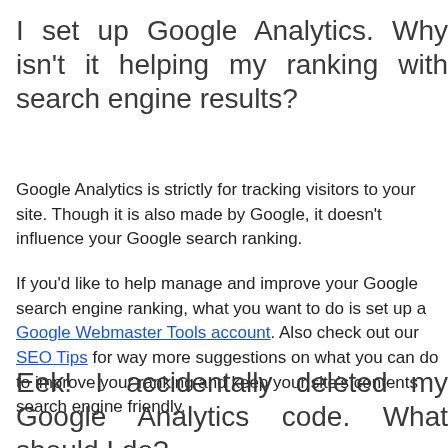I set up Google Analytics. Why isn't it helping my ranking with search engine results?
Google Analytics is strictly for tracking visitors to your site. Though it is also made by Google, it doesn't influence your Google search ranking.
If you'd like to help manage and improve your Google search engine ranking, what you want to do is set up a Google Webmaster Tools account. Also check out our SEO Tips for way more suggestions on what you can do to improve your ranking and keep your site's contents search engine friendly.
Eek! I accidentally deleted my Google Analytics code. What should I do?